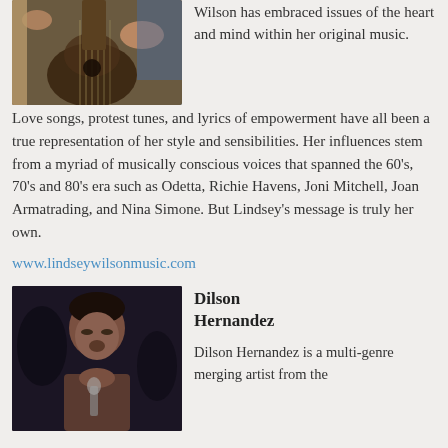[Figure (photo): Person playing an acoustic guitar, partial view showing guitar and hands]
Wilson has embraced issues of the heart and mind within her original music. Love songs, protest tunes, and lyrics of empowerment have all been a true representation of her style and sensibilities. Her influences stem from a myriad of musically conscious voices that spanned the 60's, 70's and 80's era such as Odetta, Richie Havens, Joni Mitchell, Joan Armatrading, and Nina Simone. But Lindsey's message is truly her own.
www.lindseywilsonmusic.com
[Figure (photo): Dilson Hernandez singing with eyes closed, holding a microphone, dark background]
Dilson Hernandez
Dilson Hernandez is a multi-genre merging artist from the